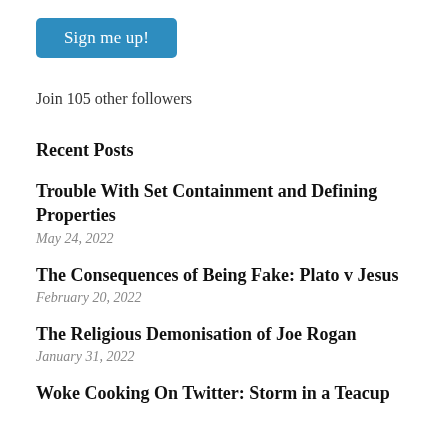[Figure (other): Blue 'Sign me up!' button]
Join 105 other followers
Recent Posts
Trouble With Set Containment and Defining Properties
May 24, 2022
The Consequences of Being Fake: Plato v Jesus
February 20, 2022
The Religious Demonisation of Joe Rogan
January 31, 2022
Woke Cooking On Twitter: Storm in a Teacup